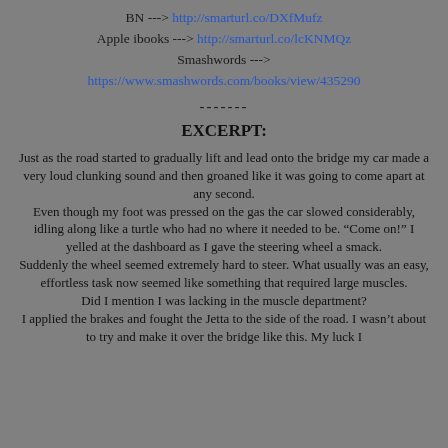BN ---> http://smarturl.co/DXfMufz
Apple ibooks ---> http://smarturl.co/lcKNMQz
Smashwords --->
https://www.smashwords.com/books/view/435290
-------
EXCERPT:
Just as the road started to gradually lift and lead onto the bridge my car made a very loud clunking sound and then groaned like it was going to come apart at any second.
Even though my foot was pressed on the gas the car slowed considerably, idling along like a turtle who had no where it needed to be. “Come on!” I yelled at the dashboard as I gave the steering wheel a smack.
Suddenly the wheel seemed extremely hard to steer. What usually was an easy, effortless task now seemed like something that required large muscles.
Did I mention I was lacking in the muscle department?
I applied the brakes and fought the Jetta to the side of the road. I wasn’t about to try and make it over the bridge like this. My luck I